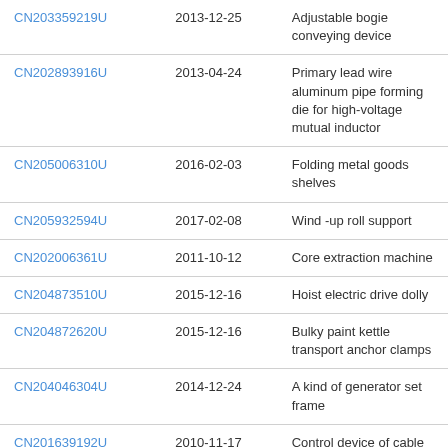| CN203359219U | 2013-12-25 | Adjustable bogie conveying device |
| CN202893916U | 2013-04-24 | Primary lead wire aluminum pipe forming die for high-voltage mutual inductor |
| CN205006310U | 2016-02-03 | Folding metal goods shelves |
| CN205932594U | 2017-02-08 | Wind -up roll support |
| CN202006361U | 2011-10-12 | Core extraction machine |
| CN204873510U | 2015-12-16 | Hoist electric drive dolly |
| CN204872620U | 2015-12-16 | Bulky paint kettle transport anchor clamps |
| CN204046304U | 2014-12-24 | A kind of generator set frame |
| CN201639192U | 2010-11-17 | Control device of cable inserting and guiding mechanism |